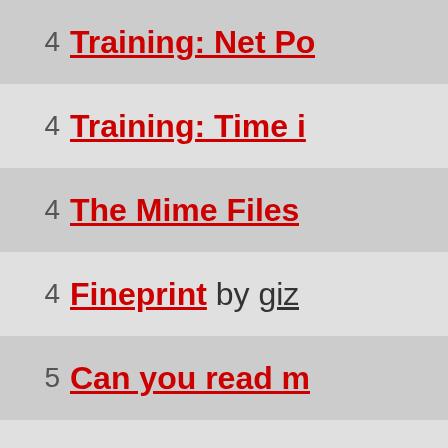4 Training: Net Po
4 Training: Time i
4 The Mime Files
4 Fineprint by giz
5 Can you read m
5 Lettergrid by Gi
5 The Nap by Z
5 Sudoku I by Giz
5 DropDaBass by
5 Sidology by Giz
5 Out of the Clou
5 A Black Hats Ta
5 Fix Us by Z and